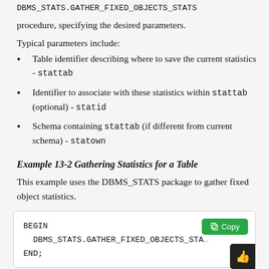DBMS_STATS.GATHER_FIXED_OBJECTS_STATS procedure, specifying the desired parameters.
Typical parameters include:
Table identifier describing where to save the current statistics - stattab
Identifier to associate with these statistics within stattab (optional) - statid
Schema containing stattab (if different from current schema) - statown
Example 13-2 Gathering Statistics for a Table
This example uses the DBMS_STATS package to gather fixed object statistics.
[Figure (screenshot): Code block showing: BEGIN DBMS_STATS.GATHER_FIXED_OBJECTS_STA... END; with a Copy button and a thumbs-up button overlay.]